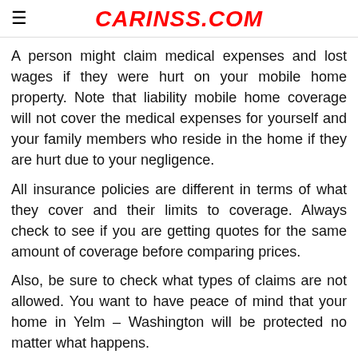CARINSS.COM
A person might claim medical expenses and lost wages if they were hurt on your mobile home property. Note that liability mobile home coverage will not cover the medical expenses for yourself and your family members who reside in the home if they are hurt due to your negligence.
All insurance policies are different in terms of what they cover and their limits to coverage. Always check to see if you are getting quotes for the same amount of coverage before comparing prices.
Also, be sure to check what types of claims are not allowed. You want to have peace of mind that your home in Yelm – Washington will be protected no matter what happens.
The Pros and Cons of No Fault Auto Insurance